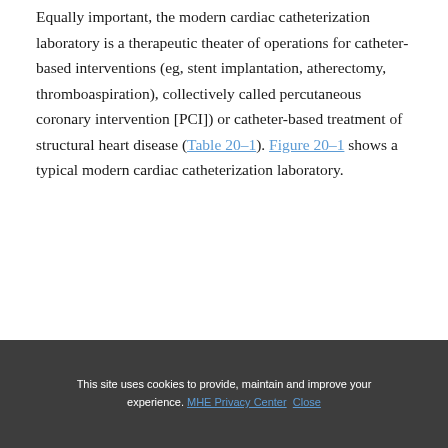Equally important, the modern cardiac catheterization laboratory is a therapeutic theater of operations for catheter-based interventions (eg, stent implantation, atherectomy, thromboaspiration), collectively called percutaneous coronary intervention [PCI]) or catheter-based treatment of structural heart disease (Table 20–1). Figure 20–1 shows a typical modern cardiac catheterization laboratory.
This site uses cookies to provide, maintain and improve your experience. MHE Privacy Center Close